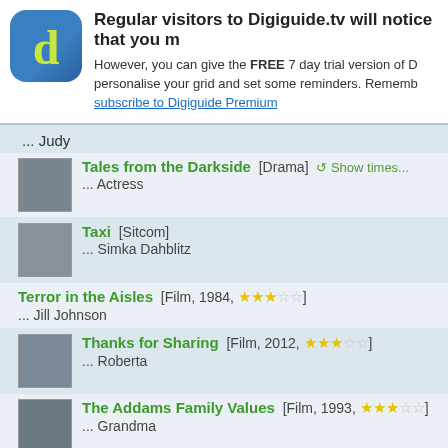[Figure (logo): Digiguide.tv app logo — dark blue rounded square with yellow-green letter d]
Regular visitors to Digiguide.tv will notice that you m
However, you can give the FREE 7 day trial version of D personalise your grid and set some reminders. Rememb subscribe to Digiguide Premium
... Judy
Tales from the Darkside [Drama] Show times... ... Actress
Taxi [Sitcom] ... Simka Dahblitz
Terror in the Aisles [Film, 1984, ★★★☆☆] ... Jill Johnson
Thanks for Sharing [Film, 2012, ★★★☆☆] ... Roberta
The Addams Family Values [Film, 1993, ★★★☆☆] ... Grandma
The Happy Elf [Film, 2005, ★★☆☆☆] ... Gilda
The Last Detail [Film, 1973, ★★★★☆] ... Young Whore
The Pacifier [Film, 2005, ★★☆☆☆]